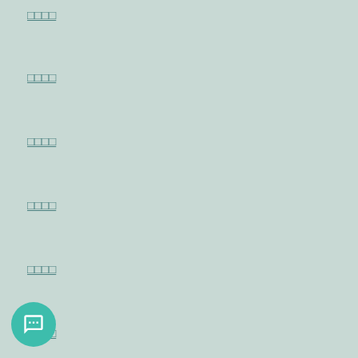□□□□
□□□□
□□□□
□□□□
□□□□
□□□□
□□□□
□□
□□feed
□□feed
WordPress.org